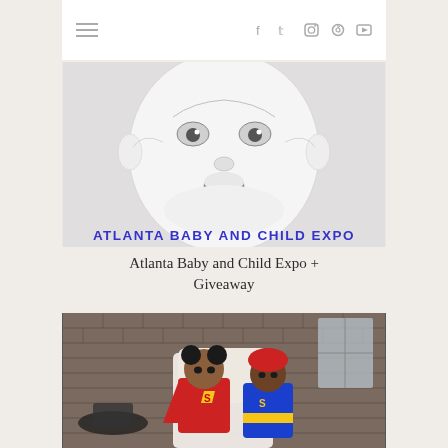≡  f  𝕏  📷  𝕡  ▶
[Figure (photo): Atlanta Baby and Child Expo logo featuring a pencil sketch of a baby's face with the text 'ATLANTA BABY AND CHILD EXPO' in bold blue letters below]
Atlanta Baby and Child Expo + Giveaway
[Figure (photo): Two young children dressed in Superman costumes sitting in a chair, with a brick wall and window visible in the background]